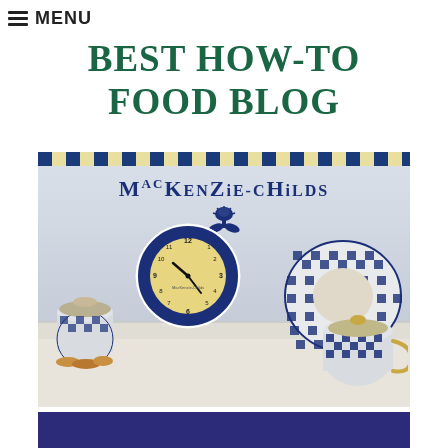≡ MENU
BEST HOW-TO FOOD BLOG
[Figure (photo): MacKenzie-Childs branded image showing blue and white checkered kitchenware including a wall clock, plates, and a cookie jar on a shelf, with the MacKenzie-Childs logo and thistle emblem above.]